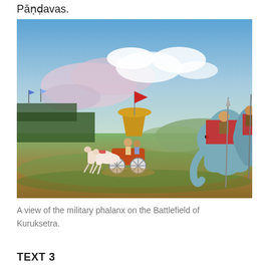Pāṇḍavas.
[Figure (illustration): A painting depicting a military phalanx on the Battlefield of Kuruksetra, showing a chariot with white horses and a golden canopy bearing a red flag, driven across a green field, with warriors on elephants on the right and armies in the background on the left, under a dramatic blue and pink cloudy sky.]
A view of the military phalanx on the Battlefield of Kuruksetra.
TEXT 3